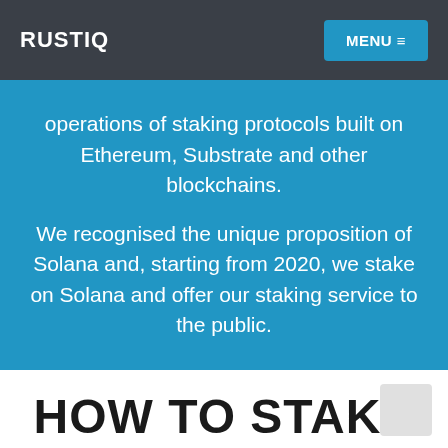RUSTIQ | MENU ≡
operations of staking protocols built on Ethereum, Substrate and other blockchains.
We recognised the unique proposition of Solana and, starting from 2020, we stake on Solana and offer our staking service to the public.
HOW TO STAKE